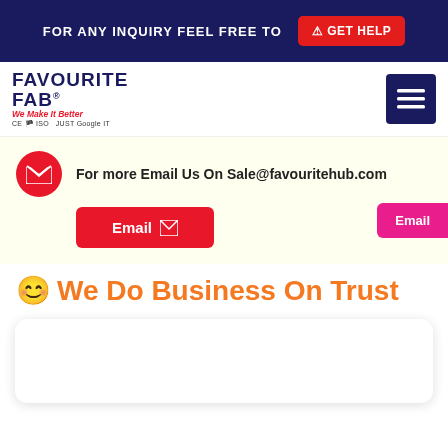FOR ANY INQUIRY FEEL FREE TO  GET HELP
[Figure (logo): Favourite Fab logo with tagline 'We Make It Better' and certification marks CE, ISO, JUST Google IT]
For more Email Us On Sale@favouritehub.com
Email
Email
😊 We Do Business On Trust